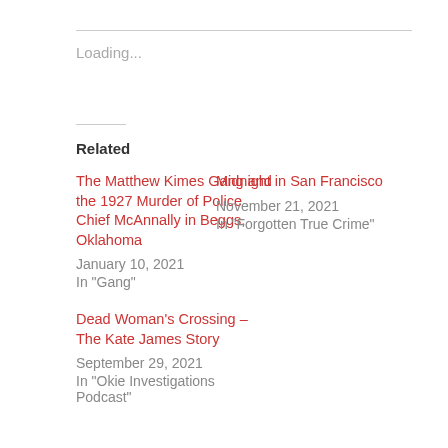Loading...
Related
The Matthew Kimes Gang and the 1927 Murder of Police Chief McAnnally in Beggs, Oklahoma
January 10, 2021
In "Gang"
Midnight in San Francisco
November 21, 2021
In "Forgotten True Crime"
Dead Woman's Crossing – The Kate James Story
September 29, 2021
In "Okie Investigations Podcast"